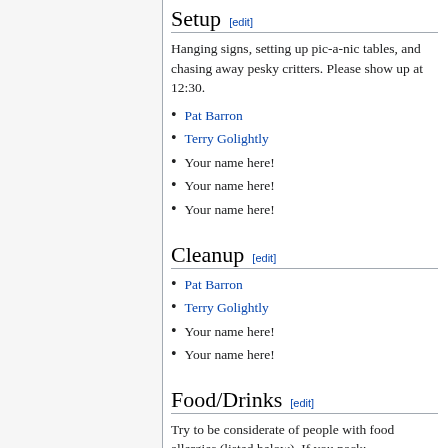Setup [edit]
Hanging signs, setting up pic-a-nic tables, and chasing away pesky critters. Please show up at 12:30.
Pat Barron
Terry Golightly
Your name here!
Your name here!
Your name here!
Cleanup [edit]
Pat Barron
Terry Golightly
Your name here!
Your name here!
Food/Drinks [edit]
Try to be considerate of people with food allergies (listed below). If you pack: